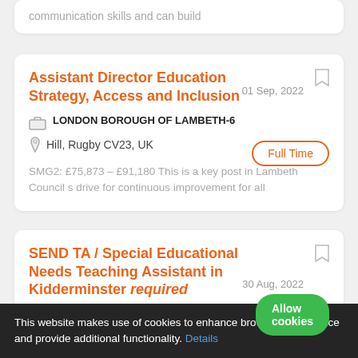communication skills and can build
Assistant Director Education Strategy, Access and Inclusion
01 Sep, 2022
LONDON BOROUGH OF LAMBETH-6
Full Time
Hill, Rugby CV23, UK
SMG2: £75,873 – £91,180 This is a key post in Lambeth Council s drive for continuous improvement for all
SEND TA / Special Educational Needs Teaching Assistant in Kidderminster required
30 Aug, 2022
This website makes use of cookies to enhance browsing experience and provide additional functionality. Details Allow cookies